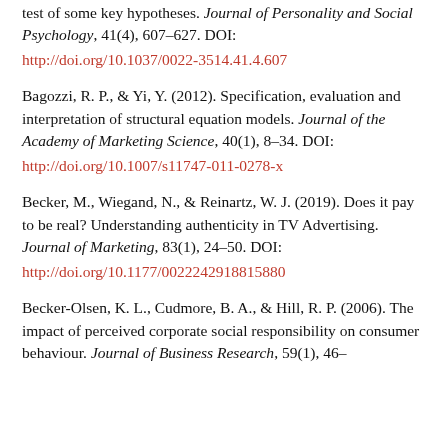Bagozzi, R. P. (1981). Attitudes, intentions, and behavior: A test of some key hypotheses. Journal of Personality and Social Psychology, 41(4), 607–627. DOI: http://doi.org/10.1037/0022-3514.41.4.607
Bagozzi, R. P., & Yi, Y. (2012). Specification, evaluation and interpretation of structural equation models. Journal of the Academy of Marketing Science, 40(1), 8–34. DOI: http://doi.org/10.1007/s11747-011-0278-x
Becker, M., Wiegand, N., & Reinartz, W. J. (2019). Does it pay to be real? Understanding authenticity in TV Advertising. Journal of Marketing, 83(1), 24–50. DOI: http://doi.org/10.1177/0022242918815880
Becker-Olsen, K. L., Cudmore, B. A., & Hill, R. P. (2006). The impact of perceived corporate social responsibility on consumer behaviour. Journal of Business Research, 59(1), 46–